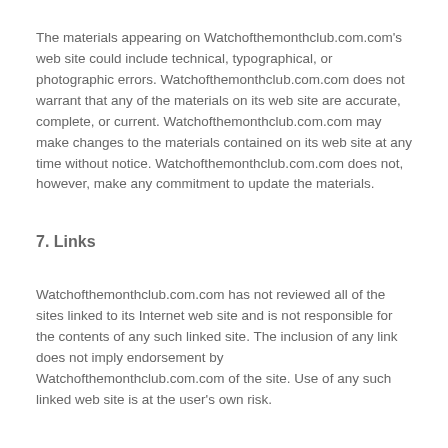The materials appearing on Watchofthemonthclub.com.com's web site could include technical, typographical, or photographic errors. Watchofthemonthclub.com.com does not warrant that any of the materials on its web site are accurate, complete, or current. Watchofthemonthclub.com.com may make changes to the materials contained on its web site at any time without notice. Watchofthemonthclub.com.com does not, however, make any commitment to update the materials.
7. Links
Watchofthemonthclub.com.com has not reviewed all of the sites linked to its Internet web site and is not responsible for the contents of any such linked site. The inclusion of any link does not imply endorsement by Watchofthemonthclub.com.com of the site. Use of any such linked web site is at the user's own risk.